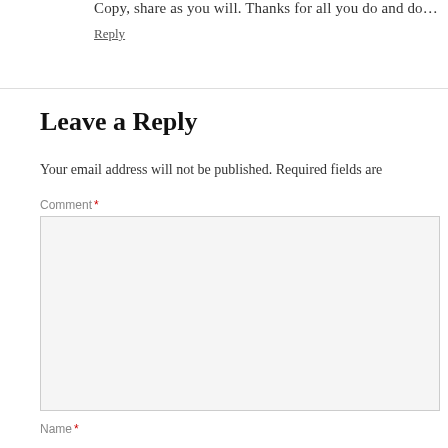Copy, share as you will. Thanks for all you do and do…
Reply
Leave a Reply
Your email address will not be published. Required fields are
Comment *
Name *